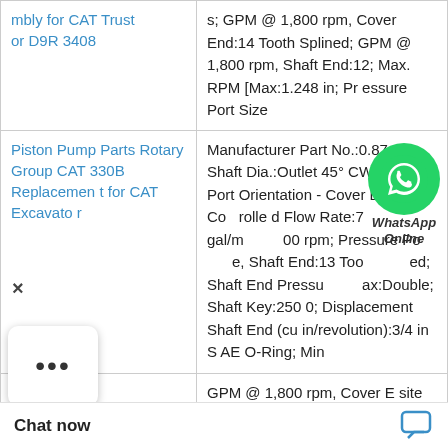| Product | Specifications |
| --- | --- |
| mbly for CAT Trust or D9R 3408 | s; GPM @ 1,800 rpm, Cover End:14 Tooth Splined; GPM @ 1,800 rpm, Shaft End:12; Max. RPM [Max:1.248 in; Pressure Port Size |
| Piston Pump Parts Rotary Group CAT 330B Replacement for CAT Excavator | Manufacturer Part No.:0.875 in; Shaft Dia.:Outlet 45° CW from; Port Orientation - Cover End:N/A; Controlled Flow Rate:7 gal/m...2 00 rpm; Pressure Port Size, Shaft End:13 Tooth Splined; Shaft End Pressure [Max:Double; Shaft Key:2500; Displacement Shaft End (cu in/revolution):3/4 in SAE O-Ring; Min |
|  | GPM @ 1,800 rpm, Cover E site Inlet Port; Sh RPM [Max:1; Model /min; Integral Val... |
[Figure (logo): WhatsApp Online overlay with green circle icon and italic bold text 'WhatsApp Online']
×
•••
Chat now